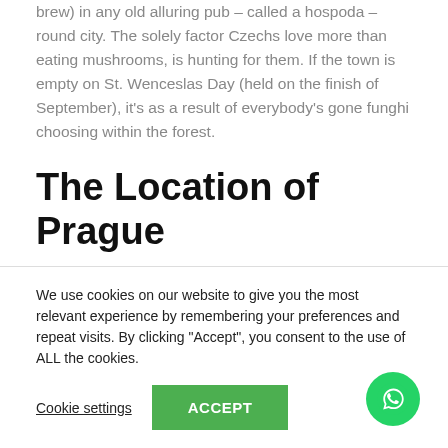brew) in any old alluring pub – called a hospoda – round city. The solely factor Czechs love more than eating mushrooms, is hunting for them. If the town is empty on St. Wenceslas Day (held on the finish of September), it's as a result of everybody's gone funghi choosing within the forest.
The Location of Prague
The Czech ethnic group is part of the West Slavic subgroup of the larger Slavic ethno-linguistical group. The West Slavs have their origin in early Slavic tribes which settled in Central Europe after East Germanic tribes had left this space during the migration
We use cookies on our website to give you the most relevant experience by remembering your preferences and repeat visits. By clicking "Accept", you consent to the use of ALL the cookies.
Cookie settings   ACCEPT